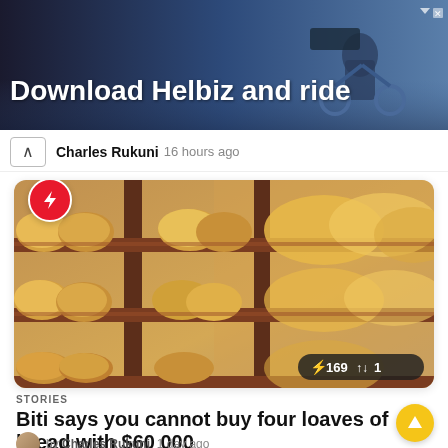[Figure (photo): Ad banner: Download Helbiz and ride, with person on scooter, dark blue gradient background]
Download Helbiz and ride
Charles Rukuni  16 hours ago
[Figure (photo): Photo of bread loaves on wooden bakery shelves with lightning bolt badge overlay and stats showing 169 reactions and 1 share]
STORIES
Biti says you cannot buy four loaves of bread with $60 000
by Charles Rukuni  1 day ago